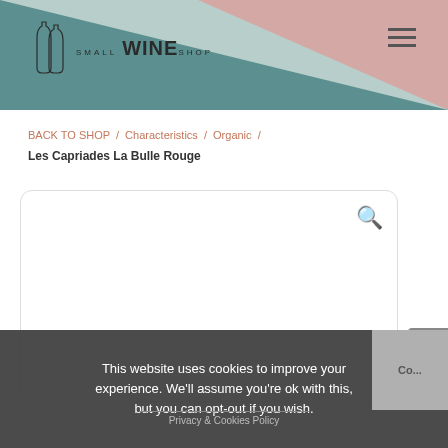[Figure (logo): Small Wine Shop logo with two wine bottle outlines and text 'small WINE shop']
BACK TO SHOP / Characteristics / Organic / Les Capriades La Bulle Rouge
[Figure (screenshot): Product image area with rounded border and search magnifier icon in top right corner]
This website uses cookies to improve your experience. We'll assume you're ok with this, but you can opt-out if you wish.
Privacy & Cookies Policy